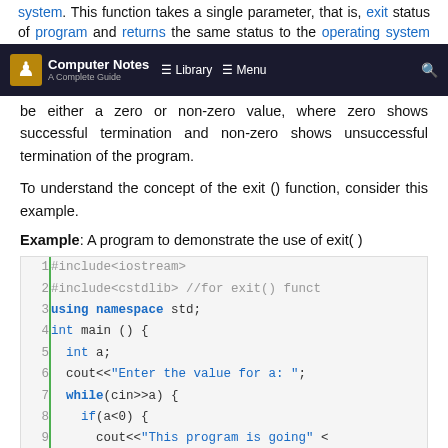system. This function takes a single parameter, that is, exit status of program and returns the same status to the operating system upon termination. The status can
[Figure (screenshot): Computer Notes navigation bar with logo, Library and Menu links, and search icon]
be either a zero or non-zero value, where zero shows successful termination and non-zero shows unsuccessful termination of the program.
To understand the concept of the exit () function, consider this example.
Example: A program to demonstrate the use of exit( )
[Figure (screenshot): C++ code block with line numbers 1-11 showing: #include<iostream>, #include<cstdlib> //for exit() funct, using namespace std;, int main () {, int a;, cout<<"Enter the value for a: ";, while(cin>>a) {, if(a<0) {, cout<<"This program is going" <, exit(0) ;, }]